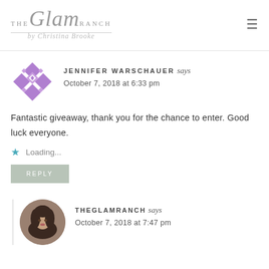[Figure (logo): The Glam Ranch by Christina Brooke logo with hamburger menu icon]
JENNIFER WARSCHAUER says
October 7, 2018 at 6:33 pm
Fantastic giveaway, thank you for the chance to enter. Good luck everyone.
Loading...
REPLY
THEGLAMRANCH says
October 7, 2018 at 7:47 pm